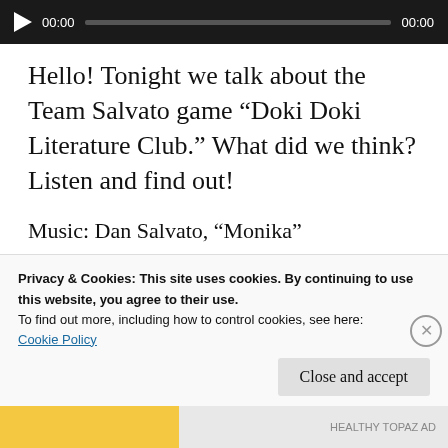[Figure (other): Audio player with play button, time display 00:00, progress bar, and end time 00:00 on dark background]
Hello! Tonight we talk about the Team Salvato game “Doki Doki Literature Club.” What did we think? Listen and find out!
Music: Dan Salvato, “Monika”
backrowzack / 28/09/2018 / Back Row Super Show, Podcast / doki doki literature club, games, team salvato, video games / Leave a comment
Privacy & Cookies: This site uses cookies. By continuing to use this website, you agree to their use.
To find out more, including how to control cookies, see here:
Cookie Policy
Close and accept